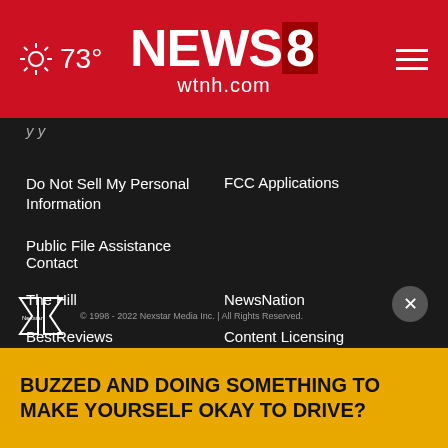73° NEWS8 wtnh.com
y y
Do Not Sell My Personal Information
FCC Applications
Public File Assistance Contact
The Hill
NewsNation
BestReviews
Content Licensing
Nexstar Digital
© 1998 - 2022 Nexstar Media Inc. | All Rights Reserved.
[Figure (infographic): Yellow advertisement banner: BUZZED AND DOING SOMETHING TO MAKE YOURSELF OKAY TO DRIVE?]